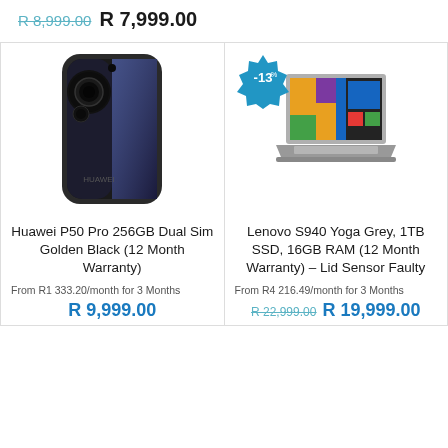R 8,999.00  R 7,999.00
[Figure (photo): Huawei P50 Pro smartphone in black color, front and back view]
[Figure (photo): Lenovo S940 Yoga Grey laptop open, showing Windows desktop, with a blue -13% discount badge in the upper left]
Huawei P50 Pro 256GB Dual Sim Golden Black (12 Month Warranty)
Lenovo S940 Yoga Grey, 1TB SSD, 16GB RAM (12 Month Warranty) – Lid Sensor Faulty
From R1 333.20/month for 3 Months
From R4 216.49/month for 3 Months
R 9,999.00
R 22,999.00  R 19,999.00